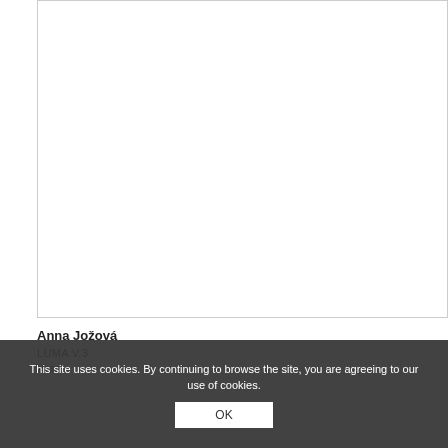[Figure (photo): Large white/blank image placeholder with thin border, taking up most of the upper portion of the page]
Anna Jožová
LUMA V.3
Vase
This site uses cookies. By continuing to browse the site, you are agreeing to our use of cookies.
OK